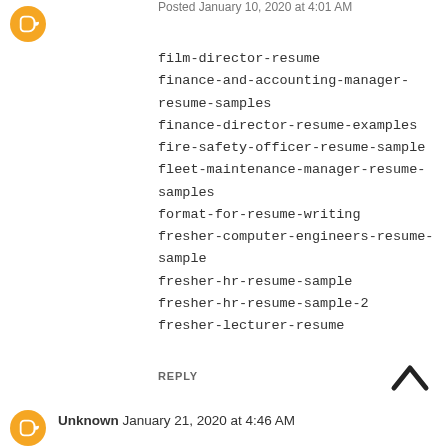[Figure (logo): Orange circular Blogger avatar icon at top left]
Posted January 10, 2020 at 4:01 AM
film-director-resume
finance-and-accounting-manager-resume-samples
finance-director-resume-examples
fire-safety-officer-resume-sample
fleet-maintenance-manager-resume-samples
format-for-resume-writing
fresher-computer-engineers-resume-sample
fresher-hr-resume-sample
fresher-hr-resume-sample-2
fresher-lecturer-resume
REPLY
[Figure (logo): Orange circular Blogger avatar icon at bottom left]
Unknown January 21, 2020 at 4:46 AM